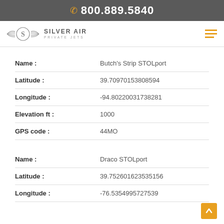800.889.5840
[Figure (logo): Silver Air Private Jets logo with wings and S emblem]
| Field | Value |
| --- | --- |
| Name | Butch's Strip STOLport |
| Latitude | 39.70970153808594 |
| Longitude | -94.80220031738281 |
| Elevation ft | 1000 |
| GPS code | 44MO |
| Field | Value |
| --- | --- |
| Name | Draco STOLport |
| Latitude | 39.752601623535156 |
| Longitude | -76.5354995727539 |